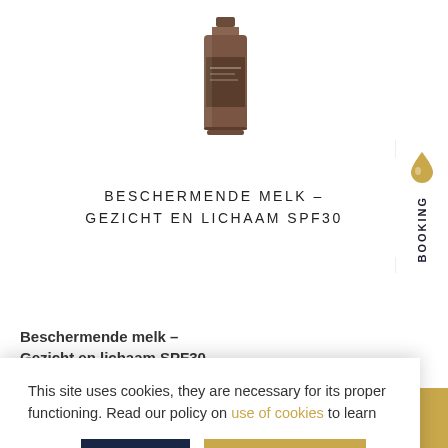[Figure (photo): Product bottle – dark brown glass bottle of Beschermende Melk SPF30 positioned at top center]
BESCHERMENDE MELK – GEZICHT EN LICHAAM SPF30
Beschermende melk – Gezicht en lichaam SPF30
2-in-1 emulsie voor gezicht & body, ideaal om alle huidtypes te
This site uses cookies, they are necessary for its proper functioning. Read our policy on use of cookies to learn more.
I agree
Privacy Statement
Edit settings
vermijden. Het product
veel           opnieuw